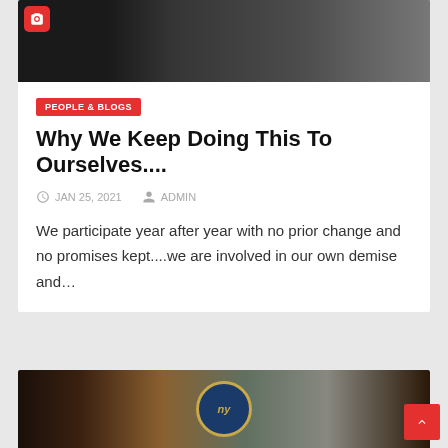[Figure (photo): Dark image with birds/pigeons in background, with a red camera icon in top-left]
PEOPLE & BLOGS
Why We Keep Doing This To Ourselves....
© JAN 25, 2021   👤 ADMIN
We participate year after year with no prior change and no promises kept....we are involved in our own demise and…
[Figure (photo): Second article card with NY Giants cap image at bottom]